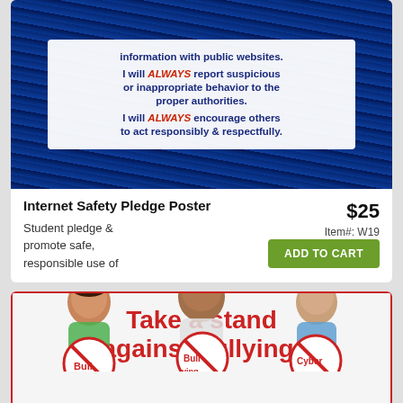[Figure (illustration): Internet Safety Pledge Poster: dark blue digital/keyboard background with white box containing text about reporting suspicious behavior and encouraging responsible, respectful behavior. Uses bold dark blue and red text.]
Internet Safety Pledge Poster
$25
Item#: W19
Student pledge & promote safe, responsible use of
ADD TO CART
[Figure (illustration): Anti-bullying poster: red text reading 'Take a stand against bullying.' with three children holding red no-bullying circle-slash signs with words Bully, Bullying, and Cyber.]